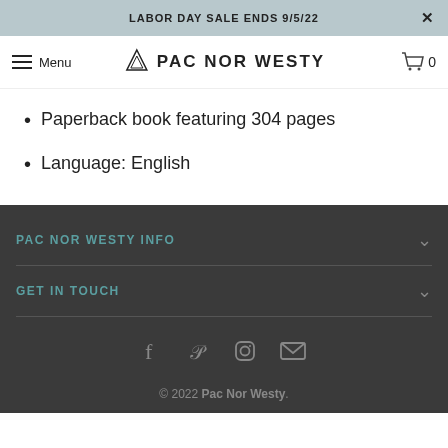LABOR DAY SALE ENDS 9/5/22
[Figure (screenshot): Navigation bar with hamburger menu, Pac Nor Westy logo with mountain icon, and shopping cart icon with 0]
Paperback book featuring 304 pages
Language: English
PAC NOR WESTY INFO
GET IN TOUCH
[Figure (illustration): Social media icons: Facebook, Pinterest, Instagram, Email]
© 2022 Pac Nor Westy.